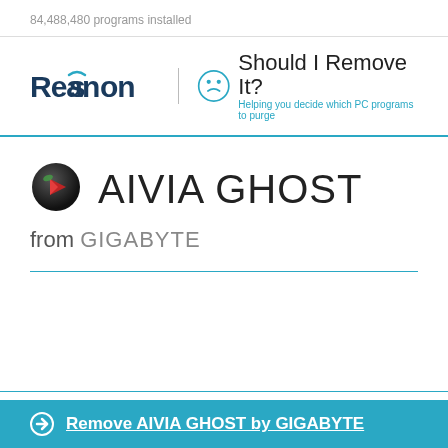84,488,480 programs installed
[Figure (logo): Reason | Should I Remove It? logo with tagline 'Helping you decide which PC programs to purge']
[Figure (logo): AIVIA GHOST app icon - dark sphere with red arrow]
AIVIA GHOST
from GIGABYTE
Remove AIVIA GHOST by GIGABYTE